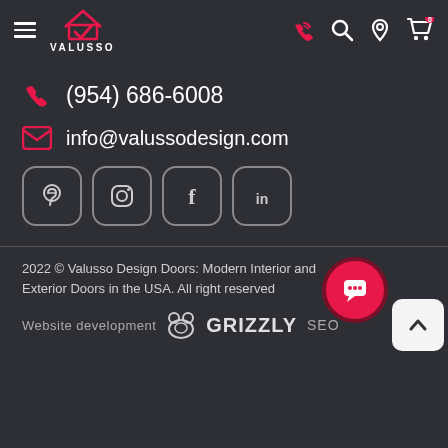[Figure (logo): Valusso logo with house/checkmark icon and text VALUSSO]
[Figure (screenshot): Navigation bar with hamburger menu, Valusso logo, phone/search/location/cart icons]
(954) 686-6008
info@valussodesign.com
[Figure (illustration): Social media icons: Pinterest, Instagram, Facebook, LinkedIn in rounded square buttons]
2022 © Valusso Design Doors: Modern Interior and Exterior Doors in the USA. All right reserved
Website development  GRIZZLY SEO